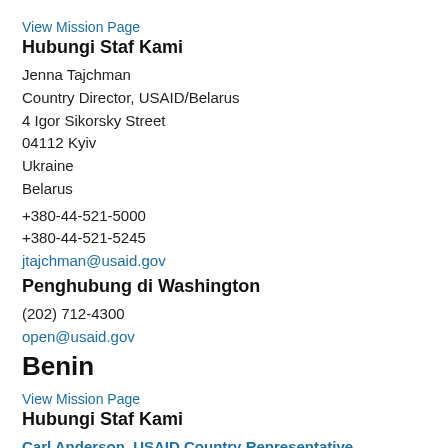View Mission Page
Hubungi Staf Kami
Jenna Tajchman
Country Director, USAID/Belarus
4 Igor Sikorsky Street
04112 Kyiv
Ukraine
Belarus
+380-44-521-5000
+380-44-521-5245
jtajchman@usaid.gov
Penghubung di Washington
(202) 712-4300
open@usaid.gov
Benin
View Mission Page
Hubungi Staf Kami
Carl Anderson, USAID Country Representative
Marina Boulevard
01 BP 2012